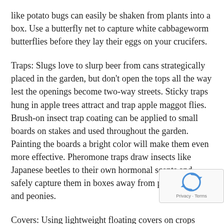like potato bugs can easily be shaken from plants into a box. Use a butterfly net to capture white cabbageworm butterflies before they lay their eggs on your crucifers.
Traps: Slugs love to slurp beer from cans strategically placed in the garden, but don't open the tops all the way lest the openings become two-way streets. Sticky traps hung in apple trees attract and trap apple maggot flies. Brush-on insect trap coating can be applied to small boards on stakes and used throughout the garden. Painting the boards a bright color will make them even more effective. Pheromone traps draw insects like Japanese beetles to their own hormonal scents and safely capture them in boxes away from prized roses and peonies.
Covers: Using lightweight floating covers on crops such as blueberries keeps those pesky birds, rabbits, and deer from eating you out of house and home. Of course, don't insta...